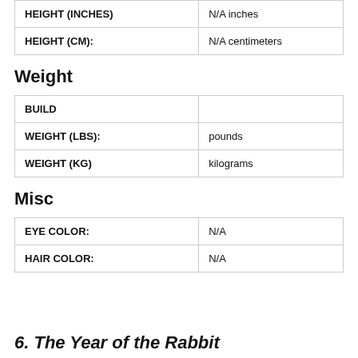| HEIGHT (INCHES) | N/A inches |
| HEIGHT (CM): | N/A centimeters |
Weight
| BUILD |  |
| WEIGHT (LBS): | pounds |
| WEIGHT (KG) | kilograms |
Misc
| EYE COLOR: | N/A |
| HAIR COLOR: | N/A |
6. The Year of the Rabbit